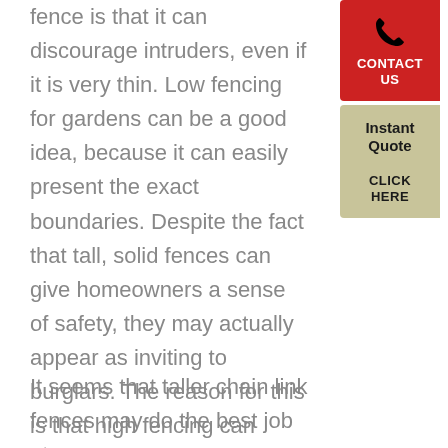fence is that it can discourage intruders, even if it is very thin. Low fencing for gardens can be a good idea, because it can easily present the exact boundaries. Despite the fact that tall, solid fences can give homeowners a sense of safety, they may actually appear as inviting to burglars. The reason for this is that high fencing can conceal burglar activity from passers-by.
[Figure (other): Red CONTACT US button with phone icon, and a tan/beige Instant Quote CLICK HERE button on the right sidebar]
It seems that taller chain link fences may do the best job at